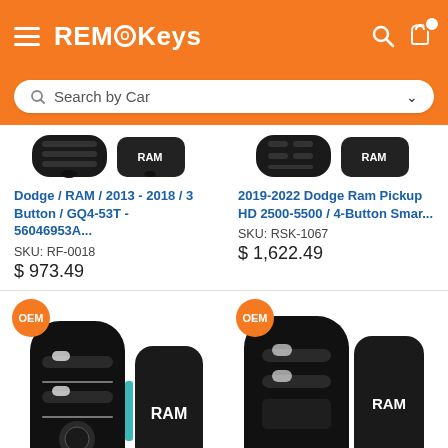[Figure (logo): REMOKeys orange header with hamburger menu, logo, search icon and cart icon]
[Figure (screenshot): Search by Car dropdown search bar]
[Figure (photo): Top portion of two car key fobs - Dodge/RAM products]
Dodge / RAM / 2013 - 2018 / 3 Button / GQ4-53T - 56046953A...
SKU: RF-0018
$ 973.49
[Figure (photo): Top portion of two car key fobs - 2019-2022 Dodge Ram Pickup HD products]
2019-2022 Dodge Ram Pickup HD 2500-5500 / 4-Button Smar...
SKU: RSK-1067
$ 1,622.49
[Figure (photo): OEM badge with two RAM car key fobs on left side - 3 button smart key]
[Figure (photo): OEM badge with two RAM car key fobs on right side - 2 button smart key]